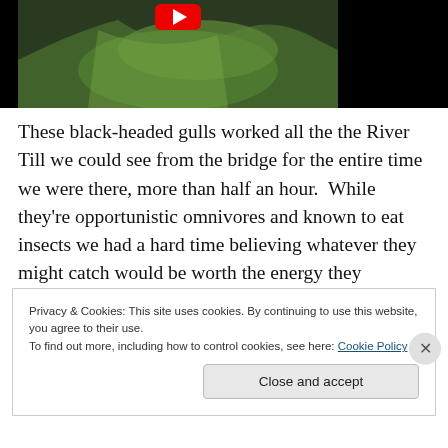[Figure (photo): A video thumbnail showing black-headed gulls near a river, with grass and water visible, and a red YouTube play button overlay at the top.]
These black-headed gulls worked all the the River Till we could see from the bridge for the entire time we were there, more than half an hour.  While they're opportunistic omnivores and known to eat insects we had a hard time believing whatever they might catch would be worth the energy they expended.  Still, we couldn't come up with any other likely explanation for their behavior, unless this was
Privacy & Cookies: This site uses cookies. By continuing to use this website, you agree to their use.
To find out more, including how to control cookies, see here: Cookie Policy
Close and accept